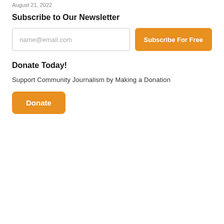August 21, 2022
Subscribe to Our Newsletter
[Figure (other): Email input field with placeholder 'name@email.com' and orange 'Subscribe For Free' button]
Donate Today!
Support Community Journalism by Making a Donation
[Figure (other): Orange 'Donate' button]